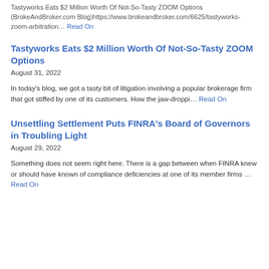Tastyworks Eats $2 Million Worth Of Not-So-Tasty ZOOM Options (BrokeAndBroker.com Blog)https://www.brokeandbroker.com/6625/tastyworks-zoom-arbitration... Read On
Tastyworks Eats $2 Million Worth Of Not-So-Tasty ZOOM Options
August 31, 2022
In today's blog, we got a tasty bit of litigation involving a popular brokerage firm that got stiffed by one of its customers. How the jaw-droppi... Read On
Unsettling Settlement Puts FINRA's Board of Governors in Troubling Light
August 29, 2022
Something does not seem right here. There is a gap between when FINRA knew or should have known of compliance deficiencies at one of its member firms ... Read On